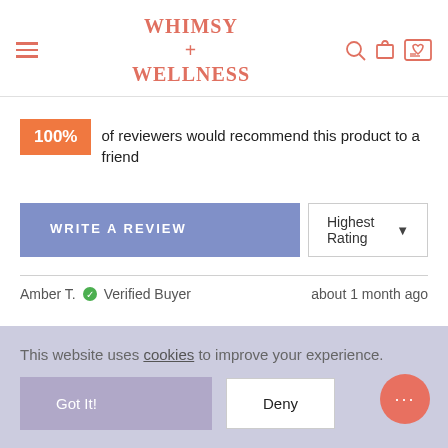Whimsy + Wellness
100% of reviewers would recommend this product to a friend
WRITE A REVIEW
Highest Rating
Amber T.  Verified Buyer    about 1 month ago
This website uses cookies to improve your experience.
Got It!
Deny